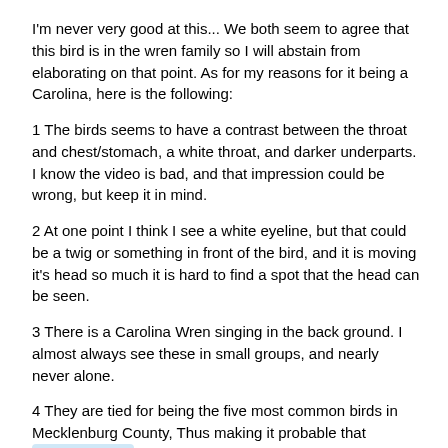I'm never very good at this... We both seem to agree that this bird is in the wren family so I will abstain from elaborating on that point. As for my reasons for it being a Carolina, here is the following:
1 The birds seems to have a contrast between the throat and chest/stomach, a white throat, and darker underparts. I know the video is bad, and that impression could be wrong, but keep it in mind.
2 At one point I think I see a white eyeline, but that could be a twig or something in front of the bird, and it is moving it's head so much it is hard to find a spot that the head can be seen.
3 There is a Carolina Wren singing in the back ground. I almost always see these in small groups, and nearly never alone.
4 They are tied for being the five most common birds in Mecklenburg County, Thus making it probable that @AlexGeorge 's sister would run across one. . Not that house wrens are rare, they don't seem to be really common.(See screen